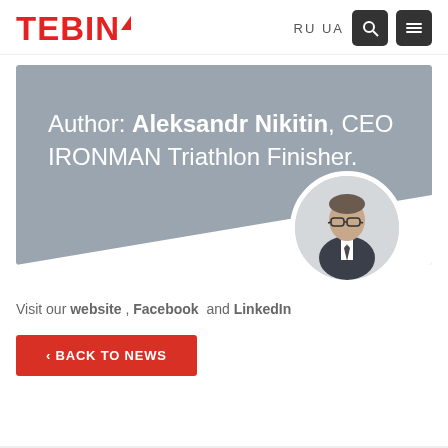TEBIN  RU  UA
[Figure (photo): Author banner with gray background, text reading 'Author: Aleksandr Nikitin, CEO IRONMAN Triathlon Finisher.' and a circular portrait photo of a man in glasses and suit]
Visit our website , Facebook and LinkedIn
‹ BACK TO NEWS